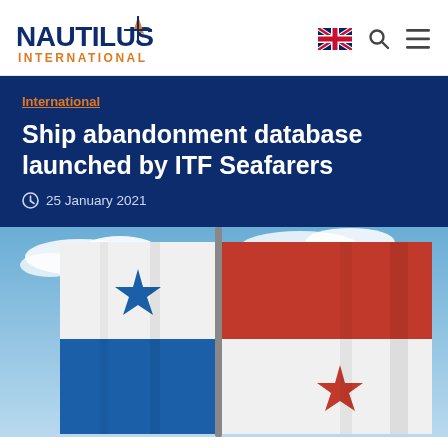Nautilus International — navigation header with logo, language flag, search, and menu icons
International
Ship abandonment database launched by ITF Seafarers
25 January 2021
[Figure (photo): Panama flag waving against a blue sky with clouds, showing the blue, white, and red quadrant design with a blue star and a red star on a flagpole]